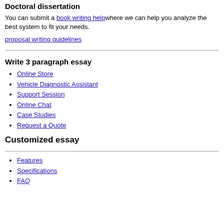Doctoral dissertation
You can submit a book writing help where we can help you analyze the best system to fit your needs.
proposal writing guidelines
Write 3 paragraph essay
Online Store
Vehicle Diagnostic Assistant
Support Session
Online Chat
Case Studies
Request a Quote
Customized essay
Features
Specifications
FAQ